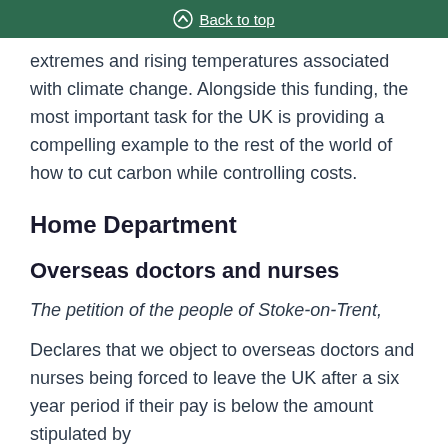Back to top
extremes and rising temperatures associated with climate change. Alongside this funding, the most important task for the UK is providing a compelling example to the rest of the world of how to cut carbon while controlling costs.
Home Department
Overseas doctors and nurses
The petition of the people of Stoke-on-Trent,
Declares that we object to overseas doctors and nurses being forced to leave the UK after a six year period if their pay is below the amount stipulated by